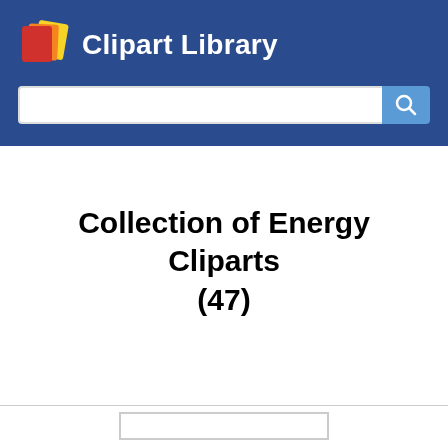Clipart Library
Collection of Energy Cliparts (47)